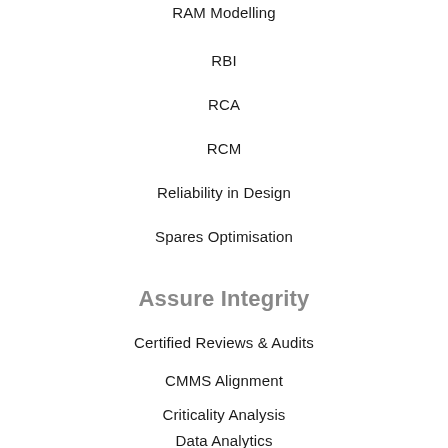RAM Modelling
RBI
RCA
RCM
Reliability in Design
Spares Optimisation
Assure Integrity
Certified Reviews & Audits
CMMS Alignment
Criticality Analysis
Data Analytics